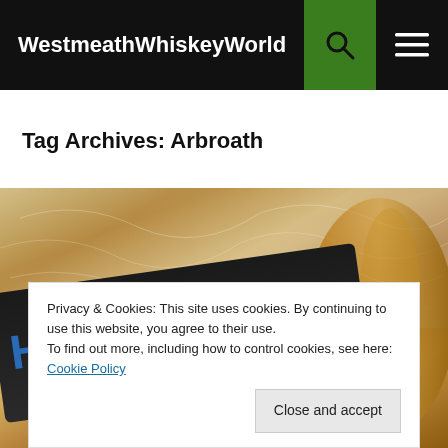WestmeathWhiskeyWorld
Tag Archives: Arbroath
[Figure (photo): Close-up photo of a Highland Rye whiskey bottle label showing 'HIGHLAND RYE' text in bold blue letters on a dark label, with amber/gold bottle glass visible and crinkled plastic wrapping in the background]
Privacy & Cookies: This site uses cookies. By continuing to use this website, you agree to their use.
To find out more, including how to control cookies, see here: Cookie Policy
Close and accept